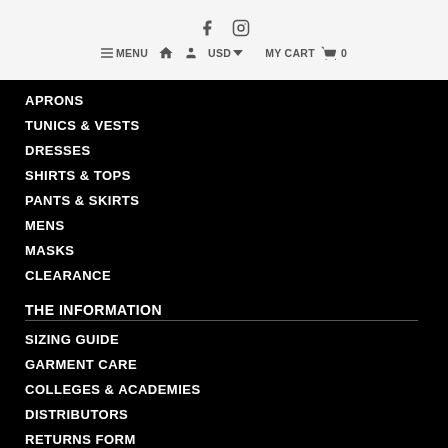f  [instagram icon]  ≡ MENU  [home icon]  [user icon]  USD ▾  MY CART [cart icon] 0
APRONS
TUNICS & VESTS
DRESSES
SHIRTS & TOPS
PANTS & SKIRTS
MENS
MASKS
CLEARANCE
THE INFORMATION
SIZING GUIDE
GARMENT CARE
COLLEGES & ACADEMIES
DISTRIBUTORS
RETURNS FORM
FAQ's